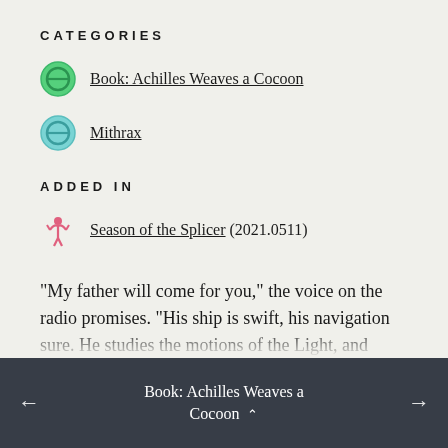CATEGORIES
Book: Achilles Weaves a Cocoon
Mithrax
ADDED IN
Season of the Splicer (2021.0511)
"My father will come for you," the voice on the radio promises. "His ship is swift, his navigation sure. He studies the motions of the Light, and
Book: Achilles Weaves a Cocoon